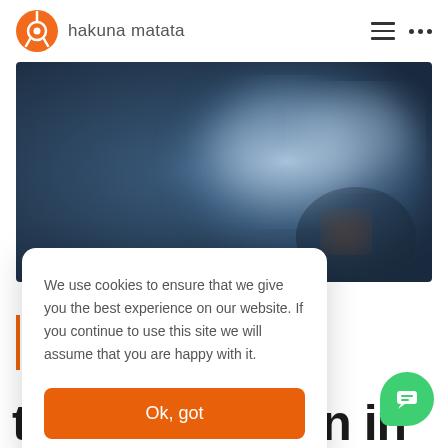hakuna matata
[Figure (photo): Blurred dark blue tech/cyber background image with a glowing white circular light and orange accent element]
We use cookies to ensure that we give you the best experience on our website. If you continue to use this site we will assume that you are happy with it.
Ok, got
transformation in